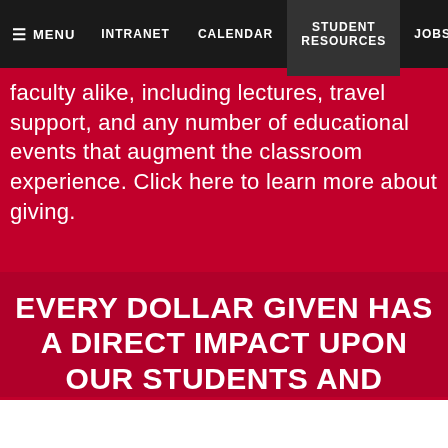MENU  INTRANET  CALENDAR  STUDENT RESOURCES  JOBS
faculty alike, including lectures, travel support, and any number of educational events that augment the classroom experience. Click here to learn more about giving.
EVERY DOLLAR GIVEN HAS A DIRECT IMPACT UPON OUR STUDENTS AND FACULTY.